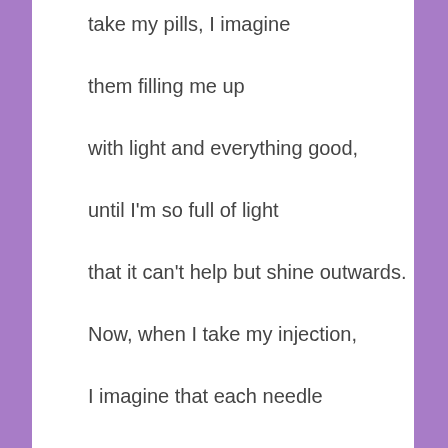take my pills, I imagine

them filling me up

with light and everything good,

until I'm so full of light

that it can't help but shine outwards.

Now, when I take my injection,

I imagine that each needle

is another piece of armor

being placed inside my body,

protecting me from the illness